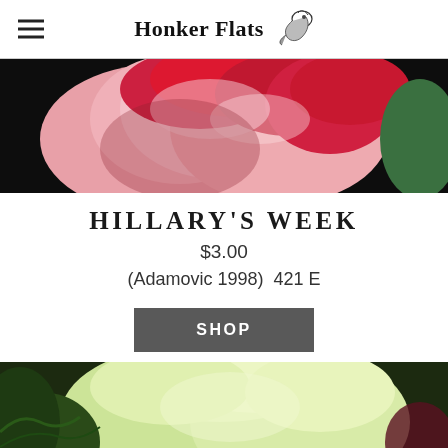Honker Flats
[Figure (photo): Close-up photograph of pink and red gladiolus flowers against a dark background]
HILLARY'S WEEK
$3.00
(Adamovic 1998)  421 E
SHOP
[Figure (photo): Close-up photograph of pale yellow-green gladiolus flowers with ruffled petals against a green foliage background]